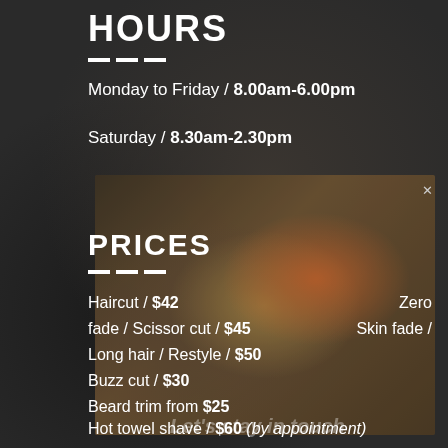HOURS
Monday to Friday / 8.00am-6.00pm
Saturday / 8.30am-2.30pm
[Figure (photo): Decorative photo overlay showing colorful hair/barber shop artwork with warm tones]
PRICES
Haircut / $42   Zero
fade / Scissor cut / $45   Skin fade /
Long hair / Restyle / $50
Buzz cut / $30
Beard trim from $25
Hot towel shave / $60 (by appointment)